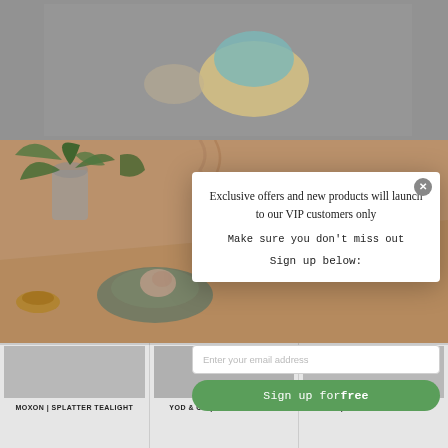[Figure (photo): Top portion of a product photo showing decorative items on a grey background, cropped at the top]
[Figure (photo): Background lifestyle photo with plants, ceramics on a warm peach/tan surface]
Exclusive offers and new products will launch to our VIP customers only

Make sure you don't miss out

Sign up below:
Enter your email address
Sign up for free
MOXON | SPLATTER TEALIGHT
YOD & CO | SOAP DISH NO.1
PUIK | CLORK CORK CLOCK